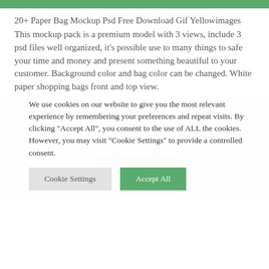20+ Paper Bag Mockup Psd Free Download Gif Yellowimages
This mockup pack is a premium model with 3 views, include 3 psd files well organized, it's possible use to many things to safe your time and money and present something beautiful to your customer. Background color and bag color can be changed. White paper shopping bags front and top view.
[Figure (photo): A light gray background with a paper bag showing the top handle portion, front and top view of a beige/kraft paper shopping bag.]
We use cookies on our website to give you the most relevant experience by remembering your preferences and repeat visits. By clicking "Accept All", you consent to the use of ALL the cookies. However, you may visit "Cookie Settings" to provide a controlled consent.
Cookie Settings | Accept All